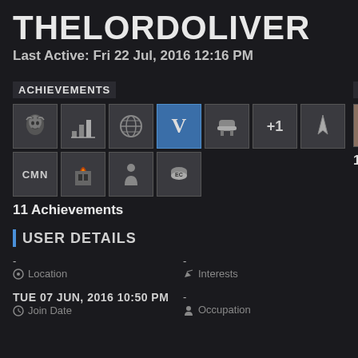THELORDOLIVER
Last Active: Fri 22 Jul, 2016 12:16 PM
ACHIEVEMENTS
[Figure (other): 11 achievement badge icons in a 2-row grid]
11 Achievements
FRIENDS
[Figure (photo): Small avatar photo of a Baby Yoda character]
1 Friends
USER DETAILS
-
Location
TUE 07 JUN, 2016 10:50 PM
Join Date
-
Interests
-
Occupation